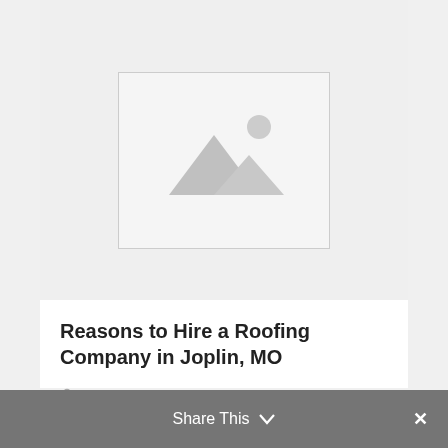[Figure (illustration): Image placeholder with mountain/landscape icon and sun, gray background with border]
Reasons to Hire a Roofing Company in Joplin, MO
Paulina Vanalphen   3 Years Ago
Share This  ✓  ×